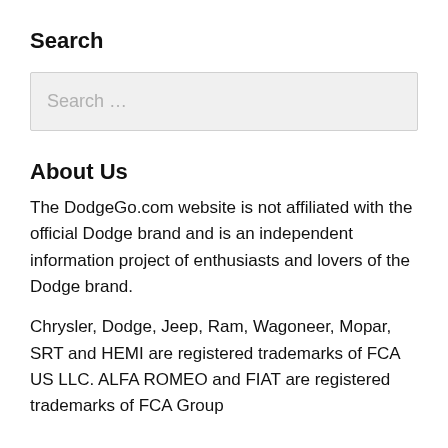Search
[Figure (other): Search input box with placeholder text 'Search ...']
About Us
The DodgeGo.com website is not affiliated with the official Dodge brand and is an independent information project of enthusiasts and lovers of the Dodge brand.
Chrysler, Dodge, Jeep, Ram, Wagoneer, Mopar, SRT and HEMI are registered trademarks of FCA US LLC. ALFA ROMEO and FIAT are registered trademarks of FCA Group